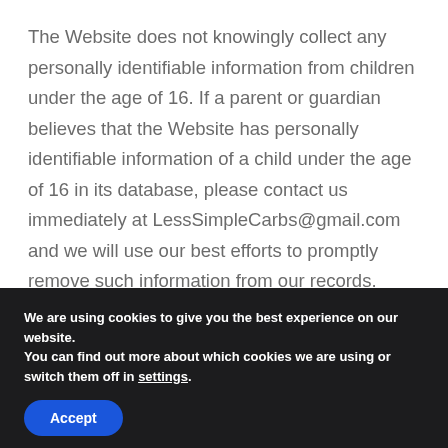The Website does not knowingly collect any personally identifiable information from children under the age of 16. If a parent or guardian believes that the Website has personally identifiable information of a child under the age of 16 in its database, please contact us immediately at LessSimpleCarbs@gmail.com and we will use our best efforts to promptly remove such information from our records.
We are using cookies to give you the best experience on our website.
You can find out more about which cookies we are using or switch them off in settings.
Accept